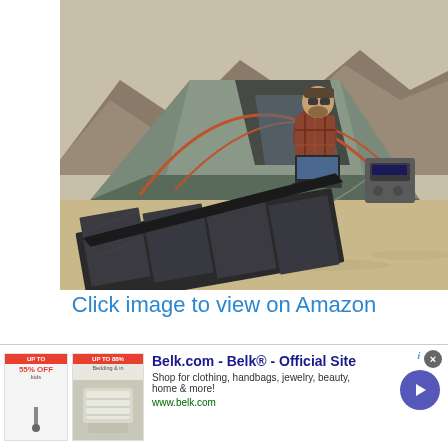[Figure (photo): A man in a plaid shirt sitting at the entrance of a gray camping tent in a rocky desert landscape, using a laptop. In the foreground is a folded solar panel charging a portable power station. Rocky mountains visible in the background.]
Click image to view on Amazon
[Figure (other): Advertisement banner for Belk.com - Belk Official Site. Shows 'UP TO 55% OFF' and 'UP TO 88% Bedding & more' promotional tags with product images of bedding. Text: Shop for clothing, handbags, jewelry, beauty, home & more! www.belk.com. Blue arrow navigation button on right.]